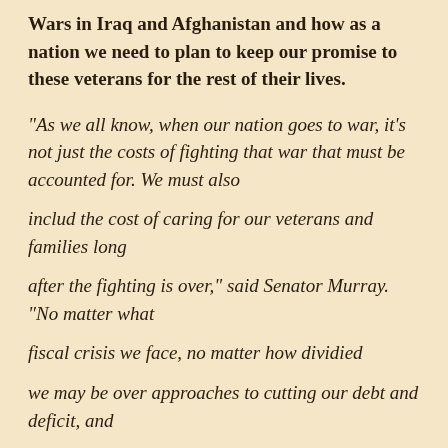Wars in Iraq and Afghanistan and how as a nation we need to plan to keep our promise to these veterans for the rest of their lives.
"As we all know, when our nation goes to war, it's not just the costs of fighting that war that must be accounted for. We must also includ the cost of caring for our veterans and families long after the fighting is over," said Senator Murray. "No matter what fiscal crisis we face, no matter how dividied we may be over approaches to cutting our debt and deficit, and no matter how heated the rhetoric here in Washington D.C. gets -- we must remember that we can't balance our budget at the expense of the health care and benefits our veterans have earned. Their sacrifices have been too great. They have done